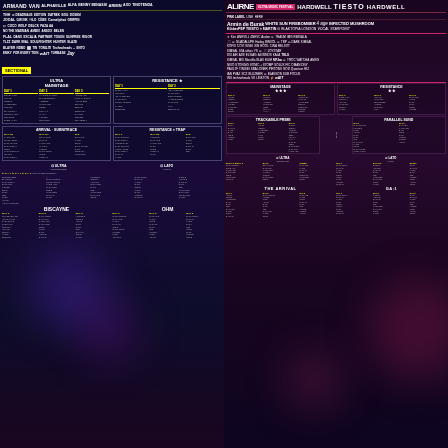[Figure (infographic): Ultra Music Festival lineup poster - left panel showing artist names and schedule grid on dark purple/navy background with glowing orb effects]
[Figure (infographic): Ultra Music Festival lineup poster - right panel showing headliners (Alirne, Tiesto, Hardwell, etc.) and full artist schedule on dark purple/maroon background]